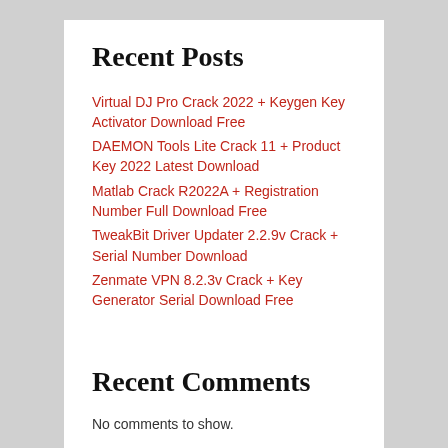Recent Posts
Virtual DJ Pro Crack 2022 + Keygen Key Activator Download Free
DAEMON Tools Lite Crack 11 + Product Key 2022 Latest Download
Matlab Crack R2022A + Registration Number Full Download Free
TweakBit Driver Updater 2.2.9v Crack + Serial Number Download
Zenmate VPN 8.2.3v Crack + Key Generator Serial Download Free
Recent Comments
No comments to show.